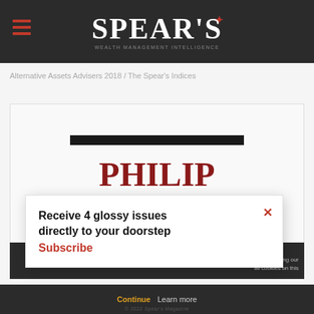SPEAR'S
Alternative Assets Advisers 2018 / The Spear's Indices
[Figure (screenshot): Spear's magazine article page showing article title 'PHILIP MOULD OBE' in large red serif font, with a black decorative bar above, and partial text 'LD &' visible below, on a white card background]
Receive 4 glossy issues directly to your doorstep Subscribe
continue using our all cookies on this
Continue  Learn more